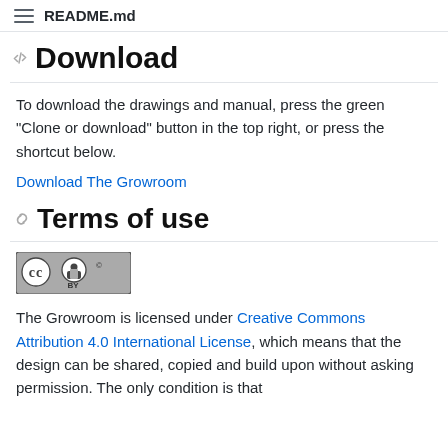README.md
Download
To download the drawings and manual, press the green "Clone or download" button in the top right, or press the shortcut below.
Download The Growroom
Terms of use
[Figure (logo): Creative Commons Attribution (CC BY) license badge]
The Growroom is licensed under Creative Commons Attribution 4.0 International License, which means that the design can be shared, copied and build upon without asking permission. The only condition is that